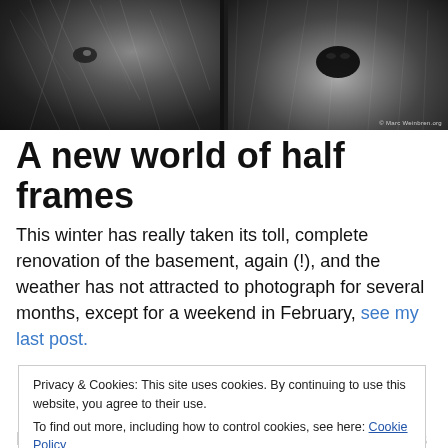[Figure (photo): Two black and white close-up photographs of a dog side by side. Left photo shows the dog's face from a tilted angle with fur visible. Right photo shows a close-up of the dog's nose and fur from below. Copyright watermark reads '© Marc Weinbren.org' in bottom right.]
A new world of half frames
This winter has really taken its toll, complete renovation of the basement, again (!), and the weather has not attracted to photograph for several months, except for a weekend in February, see my last post.
Privacy & Cookies: This site uses cookies. By continuing to use this website, you agree to their use.
To find out more, including how to control cookies, see here: Cookie Policy
Close and accept
Pordered an Olympus Pen F with a 35/1.5 Olympus Zuiko,